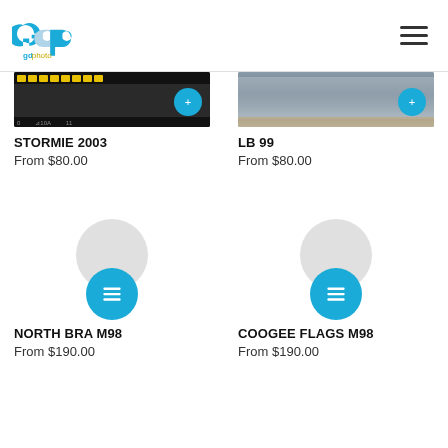[Figure (logo): gdphoto logo with blue circular letters GDP and text 'gdphoto' in blue and gold]
[Figure (photo): Film strip photograph for STORMIE 2003 product]
STORMIE 2003
From $80.00
[Figure (photo): Photograph for LB 99 product showing water/ocean scene]
LB 99
From $80.00
[Figure (photo): Loading placeholder with gray circle and blue list icon button for NORTH BRA M98]
NORTH BRA M98
From $190.00
[Figure (photo): Loading placeholder with gray circle and blue list icon button for COOGEE FLAGS M98]
COOGEE FLAGS M98
From $190.00